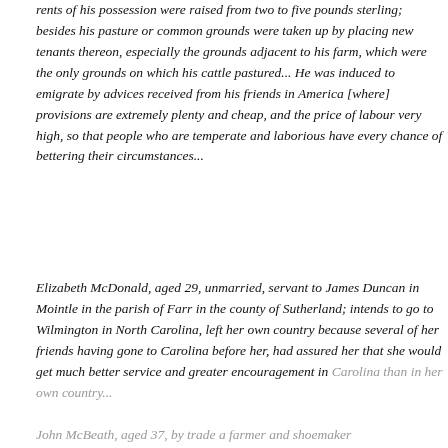rents of his possession were raised from two to five pounds sterling; besides his pasture or common grounds were taken up by placing new tenants thereon, especially the grounds adjacent to his farm, which were the only grounds on which his cattle pastured... He was induced to emigrate by advices received from his friends in America [where] provisions are extremely plenty and cheap, and the price of labour very high, so that people who are temperate and laborious have every chance of bettering their circumstances...
Elizabeth McDonald, aged 29, unmarried, servant to James Duncan in Mointle in the parish of Farr in the county of Sutherland; intends to go to Wilmington in North Carolina, left her own country because several of her friends having gone to Carolina before her, had assured her that she would get much better service and greater encouragement in Carolina than in her own country...
John McBeath, aged 37, by trade a farmer and shoemaker